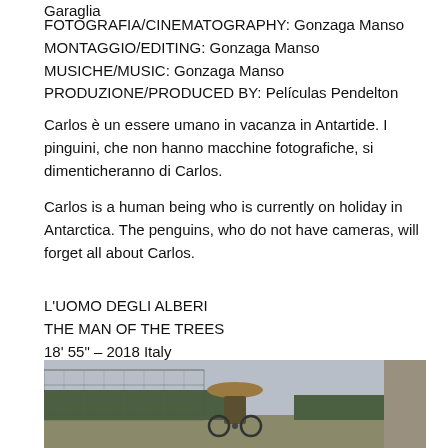Garaglia
FOTOGRAFIA/CINEMATOGRAPHY: Gonzaga Manso
MONTAGGIO/EDITING: Gonzaga Manso
MUSICHE/MUSIC: Gonzaga Manso
PRODUZIONE/PRODUCED BY: Películas Pendelton
Carlos è un essere umano in vacanza in Antartide. I pinguini, che non hanno macchine fotografiche, si dimenticheranno di Carlos.
Carlos is a human being who is currently on holiday in Antarctica. The penguins, who do not have cameras, will forget all about Carlos.
L'UOMO DEGLI ALBERI
THE MAN OF THE TREES
18' 55" – 2018 Italy
[Figure (photo): A person in a wide-brimmed hat sitting in a wheelchair, viewed from behind, near a chain-link fence with trees and an open field in the background.]